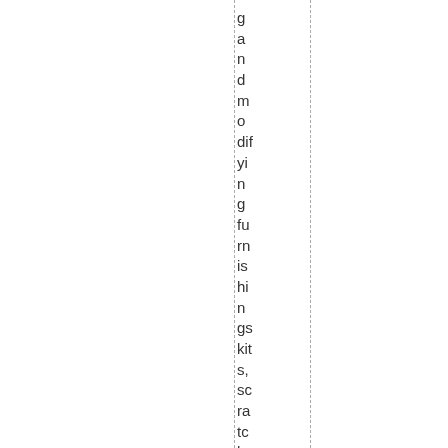g a n d m o dif yi n g fu rn is hi n gs kit s, sc ra tc h co ns tr uc tin g a n